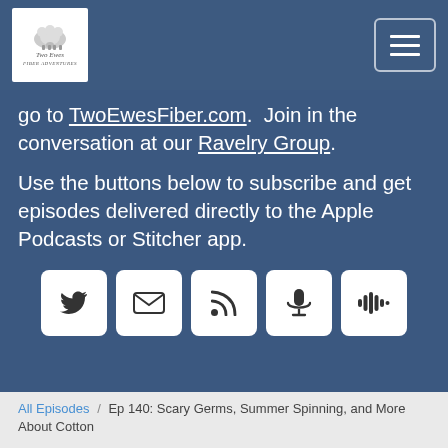Two Ewes Fiber Adventures — navigation bar with logo and hamburger menu
go to TwoEwesFiber.com.  Join in the conversation at our Ravelry Group.
Use the buttons below to subscribe and get episodes delivered directly to the Apple Podcasts or Stitcher app.
[Figure (infographic): Row of five social/subscribe icon buttons: Twitter bird, envelope/email, RSS feed, podcast microphone, Stitcher]
All Episodes / Ep 140: Scary Germs, Summer Spinning, and More About Cotton
Ep 140: Scary Germs, Summer Spinning, and More About Cotton
TWO EWES FIBER ADVENTURES